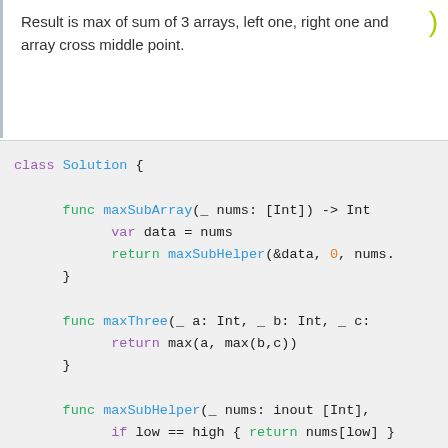Result is max of sum of 3 arrays, left one, right one and array cross middle point.
[Figure (screenshot): Swift code snippet showing class Solution with methods maxSubArray, maxThree, and maxSubHelper implementing divide and conquer maximum subarray algorithm.]